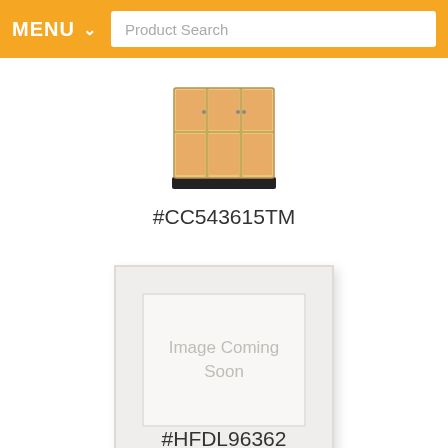MENU  Product Search
[Figure (photo): Wooden cabinet/cubby storage unit with orange dividers and glass doors, product #CC543615TM]
#CC543615TM
[Figure (other): Placeholder image box with text 'Image Coming Soon']
#HFDL96362